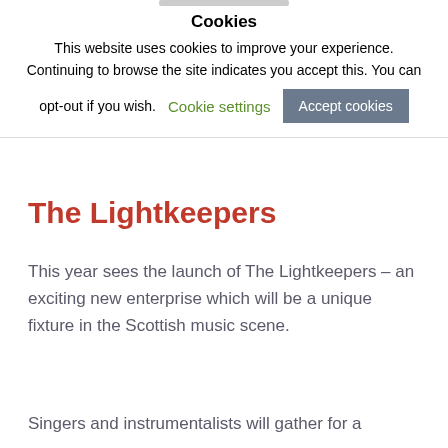[Figure (screenshot): Cookie consent banner with title 'Cookies', descriptive text, a 'Cookie settings' link, and an 'Accept cookies' button]
The Lightkeepers
This year sees the launch of The Lightkeepers – an exciting new enterprise which will be a unique fixture in the Scottish music scene.
Singers and instrumentalists will gather for a